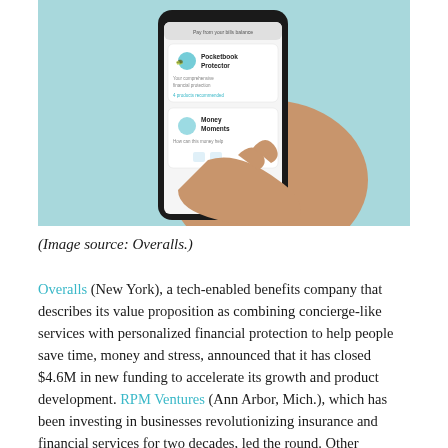[Figure (photo): A hand holding a smartphone displaying a financial app interface with cards for 'Pocketbook Protector' and 'Money Moments', on a teal/light blue background.]
(Image source: Overalls.)
Overalls (New York), a tech-enabled benefits company that describes its value proposition as combining concierge-like services with personalized financial protection to help people save time, money and stress, announced that it has closed $4.6M in new funding to accelerate its growth and product development. RPM Ventures (Ann Arbor, Mich.), which has been investing in businesses revolutionizing insurance and financial services for two decades, led the round. Other participants in the round include Frontier Ventures (Cupertino, Calif.), angel investor and former NFL player Jerod Mayo, and various other existing investors. With cumulative funding of $8.6M, Overalls says it is poised to achieve its vision of